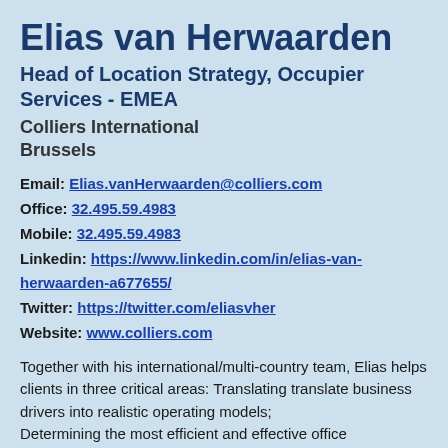Elias van Herwaarden
Head of Location Strategy, Occupier Services - EMEA
Colliers International
Brussels
Email: Elias.vanHerwaarden@colliers.com
Office: 32.495.59.4983
Mobile: 32.495.59.4983
Linkedin: https://www.linkedin.com/in/elias-van-herwaarden-a677655/
Twitter: https://twitter.com/eliasvher
Website: www.colliers.com
Together with his international/multi-country team, Elias helps clients in three critical areas: Translating translate business drivers into realistic operating models; Determining the most efficient and effective office